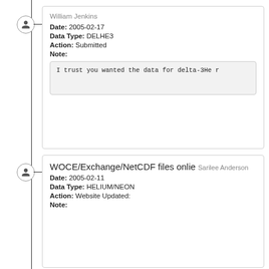William Jenkins
Date: 2005-02-17
Data Type: DELHE3
Action: Submitted
Note:
I trust you wanted the data for delta-3He r
WOCE/Exchange/NetCDF files onlie Sarilee Anderson
Date: 2005-02-11
Data Type: HELIUM/NEON
Action: Website Updated:
Note: